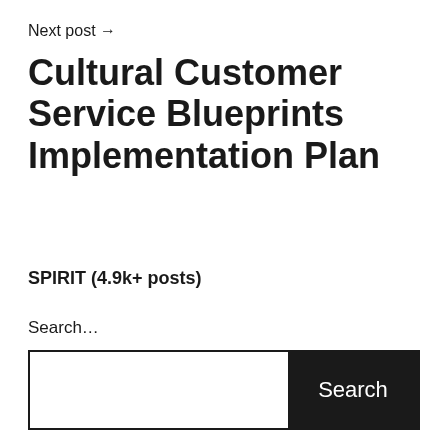Next post →
Cultural Customer Service Blueprints Implementation Plan
SPIRIT (4.9k+ posts)
Search…